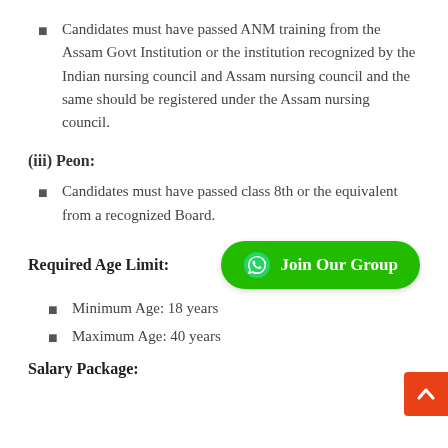Candidates must have passed ANM training from the Assam Govt Institution or the institution recognized by the Indian nursing council and Assam nursing council and the same should be registered under the Assam nursing council.
(iii) Peon:
Candidates must have passed class 8th or the equivalent from a recognized Board.
Required Age Limit:
[Figure (other): Green WhatsApp-style button with text 'Join Our Group' and WhatsApp logo icon]
Minimum Age: 18 years
Maximum Age: 40 years
Salary Package: